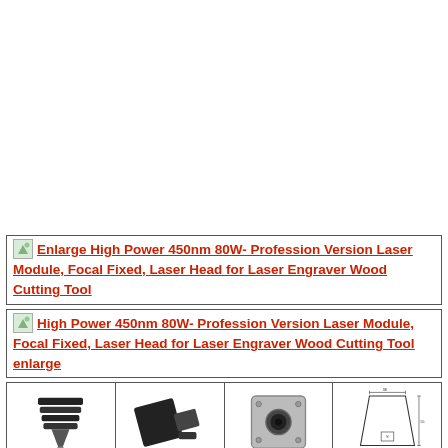[Figure (screenshot): Top blank white area of a product page]
[Figure (screenshot): Link with image placeholder: Enlarge High Power 450nm 80W- Profession Version Laser Module, Focal Fixed, Laser Head for Laser Engraver Wood Cutting Tool]
[Figure (screenshot): Link with image placeholder: High Power 450nm 80W- Profession Version Laser Module, Focal Fixed, Laser Head for Laser Engraver Wood Cutting Tool enlarge]
[Figure (photo): Row of four thumbnail images of a laser module product: side view with fins, angled side view, front face view, and technical diagram]